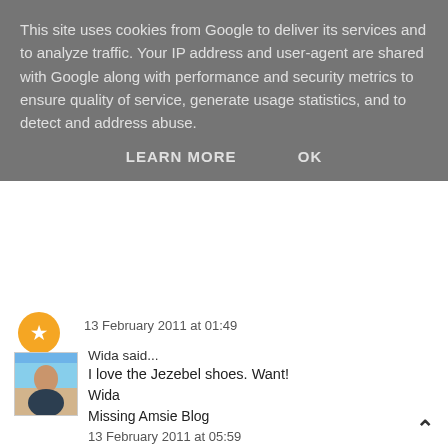This site uses cookies from Google to deliver its services and to analyze traffic. Your IP address and user-agent are shared with Google along with performance and security metrics to ensure quality of service, generate usage statistics, and to detect and address abuse.
LEARN MORE   OK
13 February 2011 at 01:49
Wida said...
I love the Jezebel shoes. Want!
Wida
Missing Amsie Blog
13 February 2011 at 05:59
Unknown said...
They always have amazing shoes.
13 February 2011 at 10:13
Unknown said...
this post is perfect timing as i'm looking for some new shoes!